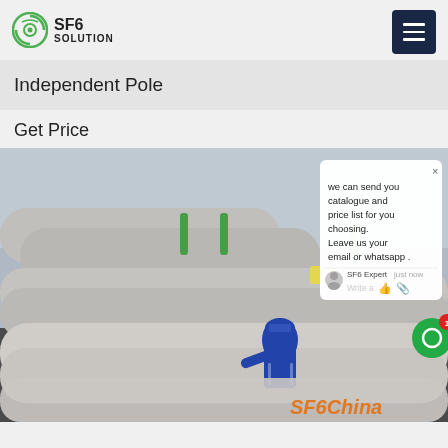SF6 SOLUTION
Independent Pole
Get Price
[Figure (photo): Worker in blue jumpsuit and hard hat inspecting large grey SF6 gas insulated switchgear pipes/equipment at an electrical substation. Chat popup overlay visible with text: 'we can send you catalogue and price list for you choosing. Leave us your email or whatsapp .' SF6China watermark in orange at bottom right.]
SF6China